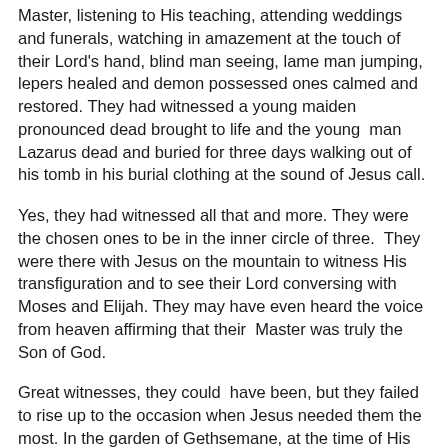Master, listening to His teaching, attending weddings and funerals, watching in amazement at the touch of their Lord's hand, blind man seeing, lame man jumping, lepers healed and demon possessed ones calmed and restored. They had witnessed a young maiden pronounced dead brought to life and the young man Lazarus dead and buried for three days walking out of his tomb in his burial clothing at the sound of Jesus call.
Yes, they had witnessed all that and more. They were the chosen ones to be in the inner circle of three. They were there with Jesus on the mountain to witness His transfiguration and to see their Lord conversing with Moses and Elijah. They may have even heard the voice from heaven affirming that their Master was truly the Son of God.
Great witnesses, they could have been, but they failed to rise up to the occasion when Jesus needed them the most. In the garden of Gethsemane, at the time of His distress, the Lord requested them to watch and pray. What did they do? They gave into sleep and started to snore instead of praying. These devoted disciples who vouched to follow Him to the and couldn't even boldly accompany Him to the courtroom of